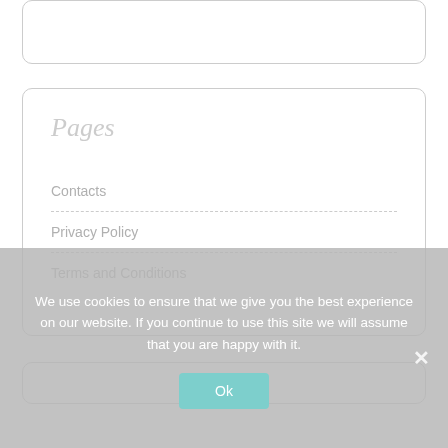[Figure (other): Top card widget (partially visible, cut off at top of page)]
Pages
Contacts
Privacy Policy
Terms and Conditions
[Figure (other): Bottom card widget (partially visible, cut off at bottom)]
We use cookies to ensure that we give you the best experience on our website. If you continue to use this site we will assume that you are happy with it.
Ok